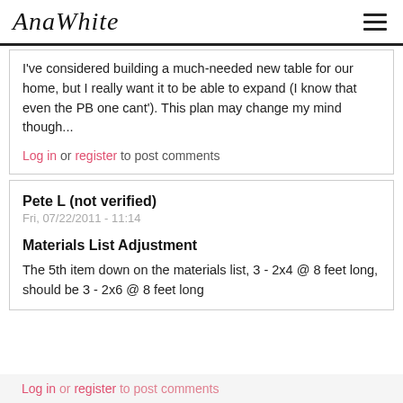AnaWhite
I've considered building a much-needed new table for our home, but I really want it to be able to expand (I know that even the PB one cant'). This plan may change my mind though...
Log in or register to post comments
Pete L (not verified)
Fri, 07/22/2011 - 11:14
Materials List Adjustment
The 5th item down on the materials list, 3 - 2x4 @ 8 feet long, should be 3 - 2x6 @ 8 feet long
Log in or register to post comments